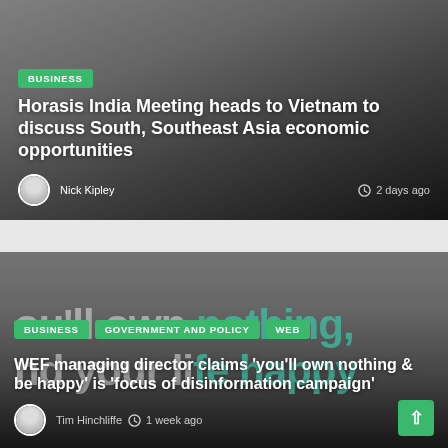[Figure (photo): Photo of a smiling man in glasses and dark suit jacket, used as background for the first news card about Horasis India Meeting]
BUSINESS
Horasis India Meeting heads to Vietnam to discuss South, Southeast Asia economic opportunities
Nick Kipley
2 days ago
[Figure (photo): Photo of a smiling bearded man, used as background for the second news card about WEF managing director, with watermark text 'you'll own nothing & be happy']
BUSINESS
GOVERNMENT AND POLICY
WEB
WEF managing director claims 'you'll own nothing & be happy' is 'focus of disinformation campaign'
Tim Hinchliffe
1 week ago